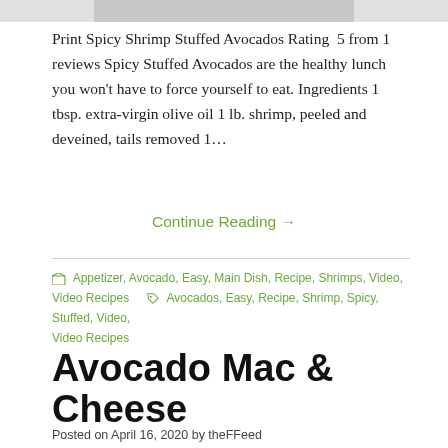[Figure (photo): Partial image at top of page, bottom edge of a food photo showing Spicy Shrimp Stuffed Avocados]
Print Spicy Shrimp Stuffed Avocados Rating  5 from 1 reviews Spicy Stuffed Avocados are the healthy lunch you won't have to force yourself to eat. Ingredients 1 tbsp. extra-virgin olive oil 1 lb. shrimp, peeled and deveined, tails removed 1…
Continue Reading →
Appetizer, Avocado, Easy, Main Dish, Recipe, Shrimps, Video, Video Recipes    Avocados, Easy, Recipe, Shrimp, Spicy, Stuffed, Video, Video Recipes
Avocado Mac & Cheese
Posted on April 16, 2020 by theFFeed